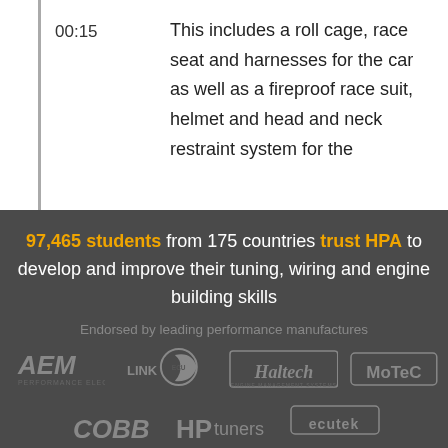00:15	This includes a roll cage, race seat and harnesses for the car as well as a fireproof race suit, helmet and head and neck restraint system for the
97,465 students from 175 countries trust HPA to develop and improve their tuning, wiring and engine building skills
Endorsed by leading performance manufactures
[Figure (logo): Logos of endorsed performance manufacturers: AEM, Link, Haltech, MoTeC, COBB, HPtuners, EcuTek, FuelTech, and another logo]